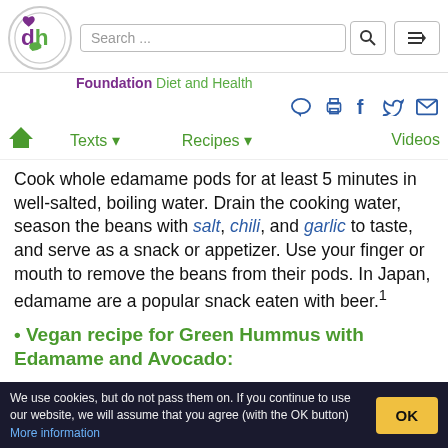Foundation Diet and Health — Search bar and navigation
Cook whole edamame pods for at least 5 minutes in well-salted, boiling water. Drain the cooking water, season the beans with salt, chili, and garlic to taste, and serve as a snack or appetizer. Use your finger or mouth to remove the beans from their pods. In Japan, edamame are a popular snack eaten with beer.¹
• Vegan recipe for Green Hummus with Edamame and Avocado:
To make green hummus, puree a small can of edamame basil, a tad chili and three cloves of garlic. Season the dip with
We use cookies, but do not pass them on. If you continue to use our website, we will assume that you agree (with the OK button) More information